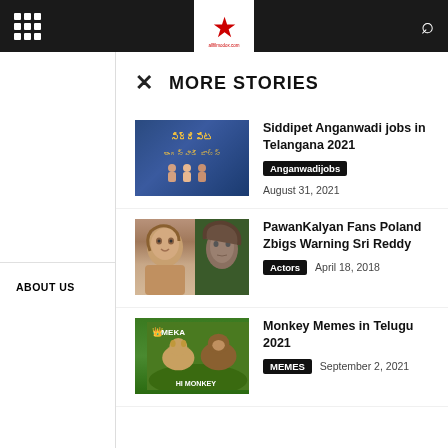MORE STORIES
ABOUT US
Siddipet Anganwadi jobs in Telangana 2021 | Anganwadijobs | August 31, 2021
PawanKalyan Fans Poland Zbigs Warning Sri Reddy | Actors | April 18, 2018
Monkey Memes in Telugu 2021 | MEMES | September 2, 2021